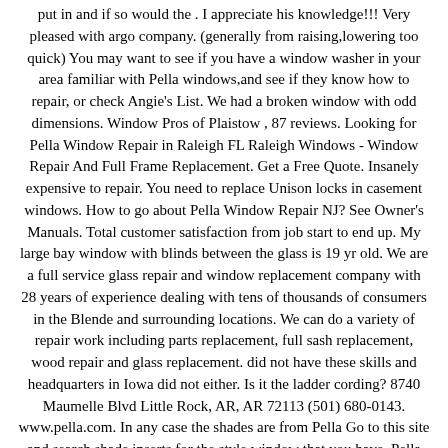put in and if so would the . I appreciate his knowledge!!! Very pleased with argo company. (generally from raising,lowering too quick) You may want to see if you have a window washer in your area familiar with Pella windows,and see if they know how to repair, or check Angie's List. We had a broken window with odd dimensions. Window Pros of Plaistow , 87 reviews. Looking for Pella Window Repair in Raleigh FL Raleigh Windows - Window Repair And Full Frame Replacement. Get a Free Quote. Insanely expensive to repair. You need to replace Unison locks in casement windows. How to go about Pella Window Repair NJ? See Owner's Manuals. Total customer satisfaction from job start to end up. My large bay window with blinds between the glass is 19 yr old. We are a full service glass repair and window replacement company with 28 years of experience dealing with tens of thousands of consumers in the Blende and surrounding locations. We can do a variety of repair work including parts replacement, full sash replacement, wood repair and glass replacement. did not have these skills and headquarters in Iowa did not either. Is it the ladder cording? 8740 Maumelle Blvd Little Rock, AR, AR 72113 (501) 680-0143. www.pella.com. In any case the shades are from Pella Go to this site and search shade inserts for the style window that you have. Pella windows come in a wide variety of materials like Pella vinyl windows with ThermaStar by Pella, wood and fiberglass. Often we ignore the repair of window and doors in our house or apartment. But honestly, I think the problem could be due